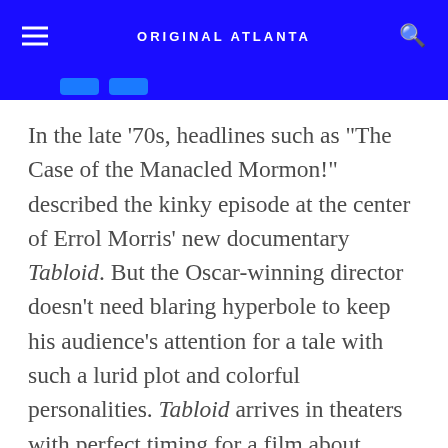ORIGINAL ATLANTA
In the late '70s, headlines such as "The Case of the Manacled Mormon!" described the kinky episode at the center of Errol Morris' new documentary Tabloid. But the Oscar-winning director doesn't need blaring hyperbole to keep his audience's attention for a tale with such a lurid plot and colorful personalities. Tabloid arrives in theaters with perfect timing for a film about journalistic